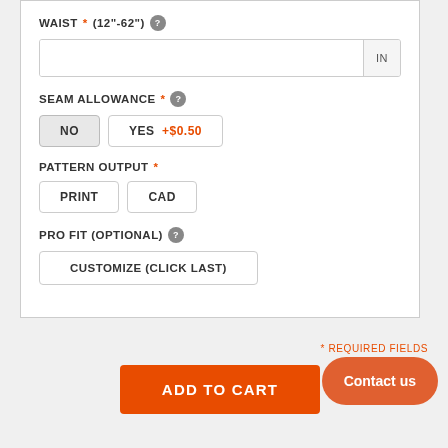WAIST * (12"-62") ?
IN
SEAM ALLOWANCE * ?
NO
YES +$0.50
PATTERN OUTPUT *
PRINT
CAD
PRO FIT (OPTIONAL) ?
CUSTOMIZE (CLICK LAST)
* REQUIRED FIELDS
ADD TO CART
Contact us